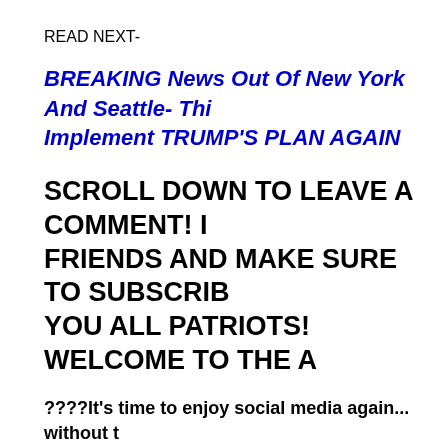READ NEXT-
BREAKING News Out Of New York And Seattle- Thi... Implement TRUMP'S PLAN AGAIN
SCROLL DOWN TO LEAVE A COMMENT! ... FRIENDS AND MAKE SURE TO SUBSCRIB... YOU ALL PATRIOTS! WELCOME TO THE A...
????It's time to enjoy social media again... without ... censorship!
➡ Join us at SPREELY, PARLER, GETTR, WeGo, Gab... WIMKIN and WorldAnon.